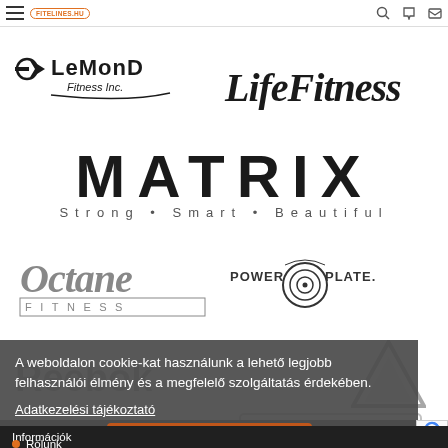FITELINES.HU navigation bar
[Figure (logo): LeMond Fitness Inc. logo]
[Figure (logo): LifeFitness logo]
[Figure (logo): MATRIX Strong • Smart • Beautiful logo]
[Figure (logo): Octane Fitness logo]
[Figure (logo): Power Plate logo]
[Figure (logo): Reebok logo and triangle shape behind cookie banner]
[Figure (logo): SportsArt logo behind cookie banner]
[Figure (logo): TechnoGym logo]
A weboldalon cookie-kat használunk a lehető legjobb felhasználói élmény és a megfelelő szolgáltatás érdekében.
Adatkezelési tájékoztató
Értettem
Információk
Rólunk